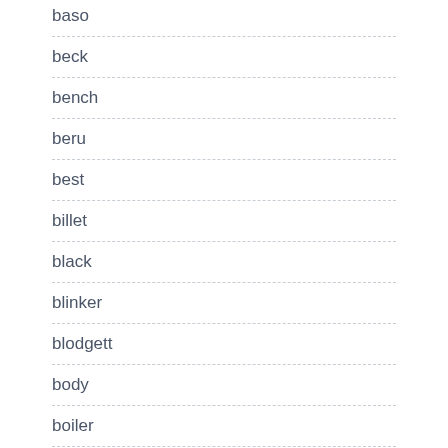baso
beck
bench
beru
best
billet
black
blinker
blodgett
body
boiler